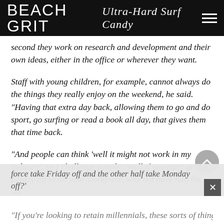BEACH GRIT Ultra-Hard Surf Candy
second they work on research and development and their own ideas, either in the office or wherever they want.
Staff with young children, for example, cannot always do the things they really enjoy on the weekend, he said. “Having that extra day back, allowing them to go and do sport, go surfing or read a book all day, that gives them that time back.
“And people can think ‘well it might not work in my industry’, so I challenge people: ‘Well if you can’t give a Friday off to all your workforce, why not have half the work force take Friday off and the other half take Monday off?’
“If you’re looking to retain millennials, these sorts of things